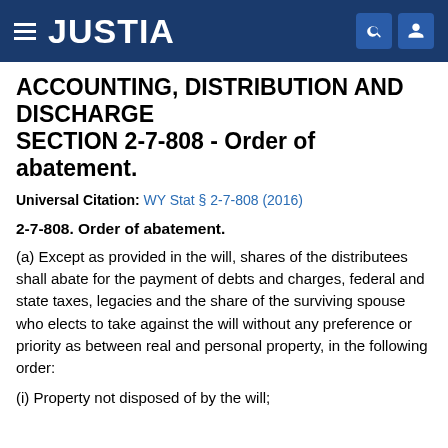JUSTIA
ACCOUNTING, DISTRIBUTION AND DISCHARGE
SECTION 2-7-808 - Order of abatement.
Universal Citation: WY Stat § 2-7-808 (2016)
2-7-808. Order of abatement.
(a) Except as provided in the will, shares of the distributees shall abate for the payment of debts and charges, federal and state taxes, legacies and the share of the surviving spouse who elects to take against the will without any preference or priority as between real and personal property, in the following order:
(i) Property not disposed of by the will;